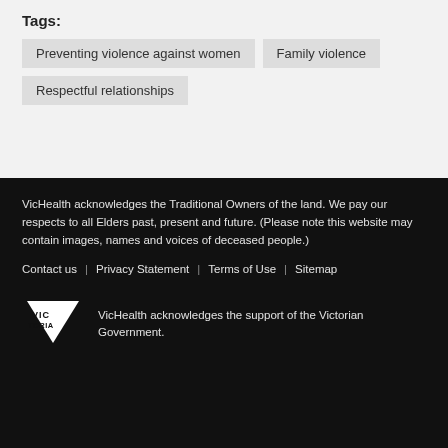Tags:
Preventing violence against women
Family violence
Respectful relationships
VicHealth acknowledges the Traditional Owners of the land. We pay our respects to all Elders past, present and future. (Please note this website may contain images, names and voices of deceased people.)
Contact us | Privacy Statement | Terms of Use | Sitemap
VicHealth acknowledges the support of the Victorian Government.